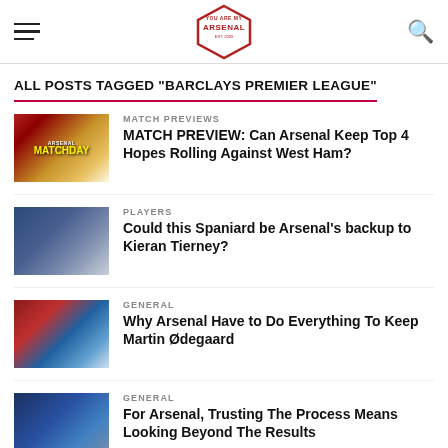YOU ARE MY ARSENAL (logo)
ALL POSTS TAGGED "BARCLAYS PREMIER LEAGUE"
[Figure (photo): Arsenal Matchday thumbnail with red and gold colors]
MATCH PREVIEWS
MATCH PREVIEW: Can Arsenal Keep Top 4 Hopes Rolling Against West Ham?
[Figure (photo): Football players on pitch photo thumbnail]
PLAYERS
Could this Spaniard be Arsenal's backup to Kieran Tierney?
[Figure (photo): Football players action photo thumbnail]
GENERAL
Why Arsenal Have to Do Everything To Keep Martin Ødegaard
[Figure (photo): Arsenal team group photo thumbnail]
GENERAL
For Arsenal, Trusting The Process Means Looking Beyond The Results
[Figure (photo): Arsenal players photo thumbnail]
PLAYERS